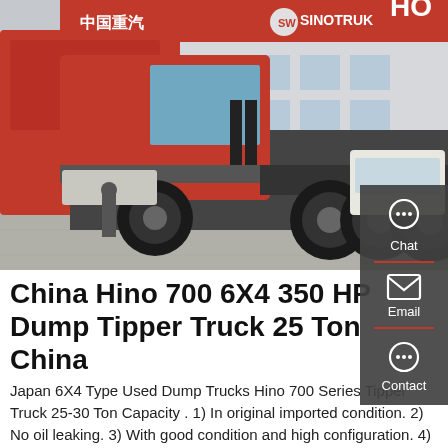[Figure (photo): Red Sinotruk Hino 700 6x4 dump/tipper truck parked in a lot in front of a Sinotruk dealership building. The rear of the truck is visible showing dual rear axles and large tires. Additional red trucks and a white SUV are visible in the background.]
China Hino 700 6X4 350 HP Dump Tipper Truck 25 Ton China
Japan 6X4 Type Used Dump Trucks Hino 700 Series Tipper Truck 25-30 Ton Capacity . 1) In original imported condition. 2) No oil leaking. 3) With good condition and high configuration. 4) Good performance and high efficiency. 5) Best price and service. 6) With
[Figure (other): Sidebar with Chat, Email, and Contact icons on dark grey background panel on the right side of the page]